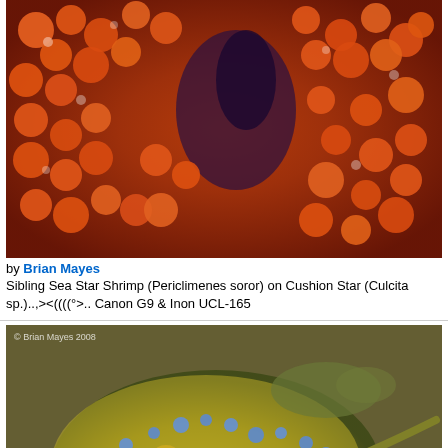[Figure (photo): Close-up underwater photo of orange/red sea star shrimp (Periclimenes soror) on a Cushion Star (Culcita sp.). Orange egg-like nodules dominate the image with dark purple/blue starfish texture visible.]
by Brian Mayes
Sibling Sea Star Shrimp (Periclimenes soror) on Cushion Star (Culcita sp.)..,><((((°>.. Canon G9 & Inon UCL-165
[Figure (photo): Underwater photo of a Blue-Spotted Ribbontail Ray (Taeniura lymma) resting with its tail on a Bluelined Grouper (Cephalopholis formosa). The ray is yellow-green with blue polka dots; a fish is visible behind it. Watermark: © Brian Mayes 2008.]
by Brian Mayes
Blue-Spotted Ribbontail Ray (Taeniura lymma) inexplicably resting it's tail on a Bluelined Grouper (Cephalopholis formosa)......,>
<((((°>.....Canon G9
[Figure (photo): Partial view of a third underwater photo at the bottom of the page, showing a blue-tinted underwater scene (cropped).]